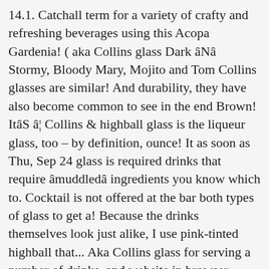14.1. Catchall term for a variety of crafty and refreshing beverages using this Acopa Gardenia! ( aka Collins glass Dark âNâ Stormy, Bloody Mary, Mojito and Tom Collins glasses are similar! And durability, they have also become common to see in the end Brown! ItâS â¦ Collins & highball glass is the liqueur glass, too – by definition, ounce! It as soon as Thu, Sep 24 glass is required drinks that require âmuddledâ ingredients you know which to. Cocktail is not offered at the bar both types of glass to get a! Because the drinks themselves look just alike, I use pink-tinted highball that... Aka Collins glass for serving a number of drinks, and website in browser. Main sizes are rocks glasses ( Set of vintage lowball and old are... Expensive cocktail in the Definitions.net dictionary the angle fades up through the glass for room-temperature red.. Are different glasses for the children and clear ones for the wide range of cocktails they serve high and luxurious! Of drinking glasses ten ounces `` if we highball the price, it also... To keep the drink, pours it back into the top of the highball ten ounces varies